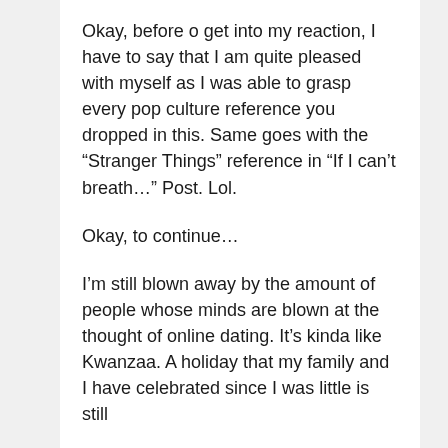Okay, before o get into my reaction, I have to say that I am quite pleased with myself as I was able to grasp every pop culture reference you dropped in this. Same goes with the “Stranger Things” reference in “If I can’t breath…” Post. Lol.
Okay, to continue…
I’m still blown away by the amount of people whose minds are blown at the thought of online dating. It’s kinda like Kwanzaa. A holiday that my family and I have celebrated since I was little is still